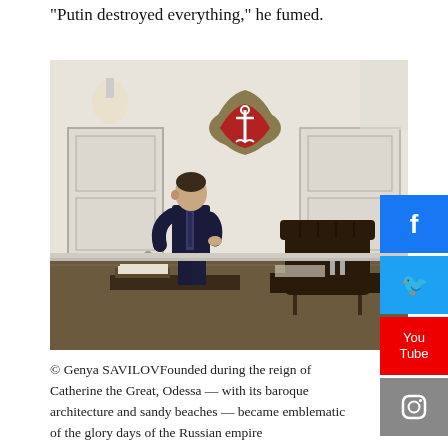“Putin destroyed everything,” he fumed.
[Figure (photo): A man in a dark suit stands in a formal office with white ornate walls. A red coat of arms with an anchor is mounted on the wall above. A large leather chair and executive desk are visible.]
© Genya SAVILOVFounded during the reign of Catherine the Great, Odessa — with its baroque architecture and sandy beaches — became emblematic of the glory days of the Russian empire